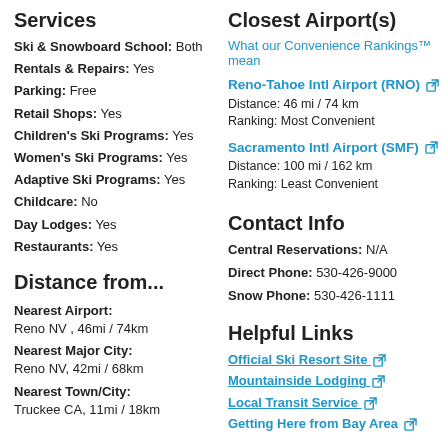Services
Ski & Snowboard School: Both
Rentals & Repairs: Yes
Parking: Free
Retail Shops: Yes
Children's Ski Programs: Yes
Women's Ski Programs: Yes
Adaptive Ski Programs: Yes
Childcare: No
Day Lodges: Yes
Restaurants: Yes
Distance from...
Nearest Airport: Reno NV , 46mi / 74km
Nearest Major City: Reno NV, 42mi / 68km
Nearest Town/City: Truckee CA, 11mi / 18km
Closest Airport(s)
What our Convenience Rankings™ mean
Reno-Tahoe Intl Airport (RNO)
Distance: 46 mi / 74 km
Ranking: Most Convenient
Sacramento Intl Airport (SMF)
Distance: 100 mi / 162 km
Ranking: Least Convenient
Contact Info
Central Reservations: N/A
Direct Phone: 530-426-9000
Snow Phone: 530-426-1111
Helpful Links
Official Ski Resort Site
Mountainside Lodging
Local Transit Service
Getting Here from Bay Area